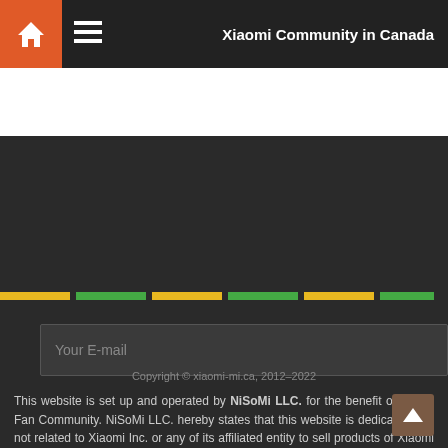Xiaomi Community in Canada
[Figure (screenshot): Search bar with grid icon, search input, lens icon, and compare icon with badge 0]
Your E-mail
SUBSCRIBE
[Figure (infographic): Social media icons: Facebook, Twitter, YouTube, Google+, Vimeo, Home, News/Grid]
Copyright © xiaomi-mi.ca, 2012–2022
This website is set up and operated by NiSoMi LLC. for the benefit of the Mi Fan Community. NiSoMi LLC. hereby states that this website is dedicated, but not related to Xiaomi Inc. or any of its affiliated entity to sell products of Xiaomi Inc.